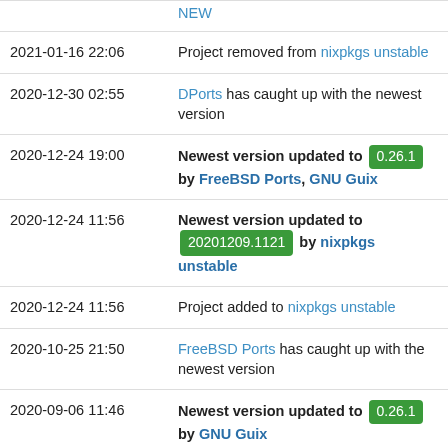| Date | Description |
| --- | --- |
|  | NEW |
| 2021-01-16 22:06 | Project removed from nixpkgs unstable |
| 2020-12-30 02:55 | DPorts has caught up with the newest version |
| 2020-12-24 19:00 | Newest version updated to 0.26.1 by FreeBSD Ports, GNU Guix |
| 2020-12-24 11:56 | Newest version updated to 20201209.1121 by nixpkgs unstable |
| 2020-12-24 11:56 | Project added to nixpkgs unstable |
| 2020-10-25 21:50 | FreeBSD Ports has caught up with the newest version |
| 2020-09-06 11:46 | Newest version updated to 0.26.1 by GNU Guix |
| 2020-08-08 18:41 | FreeBSD Ports has caught up with the newest version |
| 2020-08-07 20:16 | Newest version updated to 0.26.1 by ... |